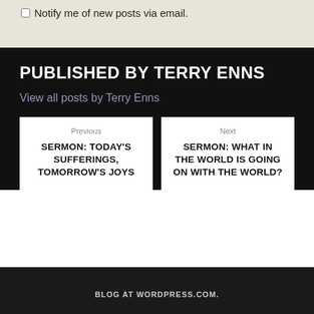Notify me of new posts via email.
PUBLISHED BY TERRY ENNS
View all posts by Terry Enns
Previous
SERMON: TODAY'S SUFFERINGS, TOMORROW'S JOYS
Next
SERMON: WHAT IN THE WORLD IS GOING ON WITH THE WORLD?
BLOG AT WORDPRESS.COM.